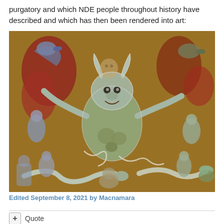purgatory and which NDE people throughout history have described and which has then been rendered into art:
[Figure (illustration): Medieval mosaic or fresco-style artwork depicting demonic figures, serpents, and human souls in a hellish or purgatorial scene. Central figure is a large demon or devil with horns surrounded by twisted creatures, serpents, and human figures in various states of torment. Rich earthy tones with blues, greens, and reds on a gold-brown background.]
Edited September 8, 2021 by Macnamara
+ Quote